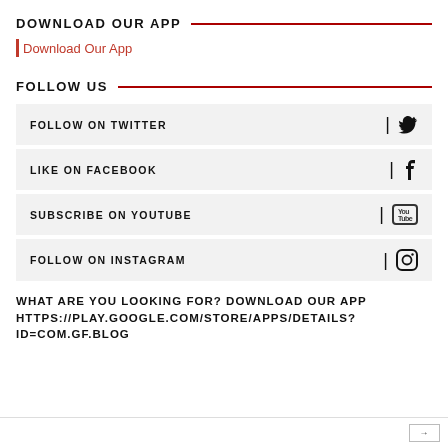DOWNLOAD OUR APP
Download Our App
FOLLOW US
FOLLOW ON TWITTER
LIKE ON FACEBOOK
SUBSCRIBE ON YOUTUBE
FOLLOW ON INSTAGRAM
WHAT ARE YOU LOOKING FOR? DOWNLOAD OUR APP HTTPS://PLAY.GOOGLE.COM/STORE/APPS/DETAILS?ID=COM.GF.BLOG